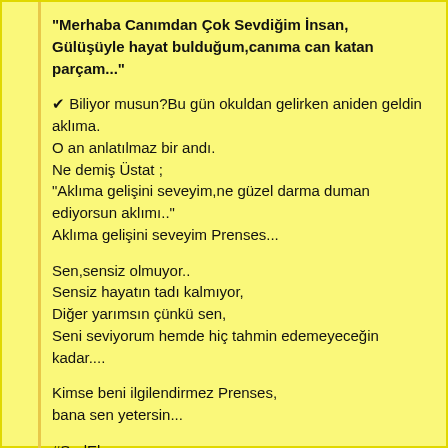“Merhaba Canımdan Çok Sevdiğim İnsan,
Gülüşüyle hayat bulduğum,canıma can katan parçam...”
✔ Biliyor musun?Bu gün okuldan gelirken aniden geldin aklıma.
O an anlatılmaz bir andı.
Ne demiş Üstat ;
"Aklıma gelişini seveyim,ne güzel darma duman ediyorsun aklımı.."
Aklıma gelişini seveyim Prenses...
Sen,sensiz olmuyor..
Sensiz hayatın tadı kalmıyor,
Diğer yarımsın çünkü sen,
Seni seviyorum hemde hiç tahmin edemeyeceğin kadar....
Kimse beni ilgilendirmez Prenses,
bana sen yetersin...
#SudEbrar